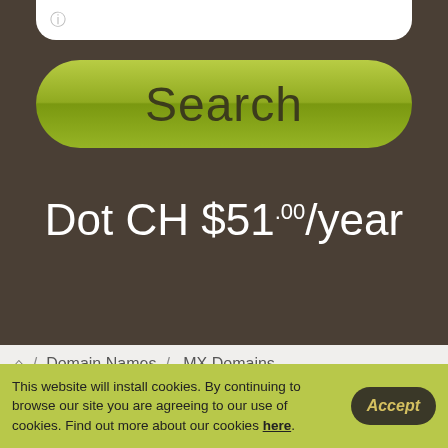[Figure (screenshot): Search input field at top of dark brown background area]
[Figure (screenshot): Green rounded search button with text 'Search']
Dot CH $51.00/year
/ Domain Names / .MX Domains
Dot CH Pricing
| TLD |
| --- |
Live Chat
This website will install cookies. By continuing to browse our site you are agreeing to our use of cookies. Find out more about our cookies here.